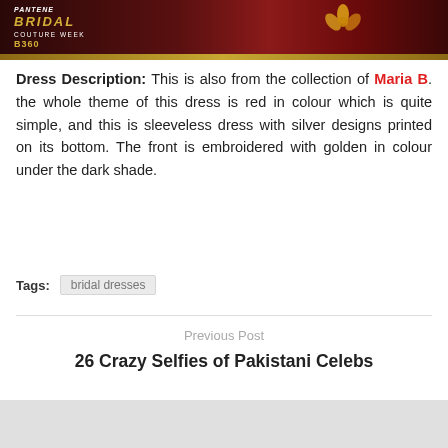[Figure (photo): Pantene Bridal Couture Week B360 logo overlay on a dark red/maroon background with floral elements]
Dress Description: This is also from the collection of Maria B. the whole theme of this dress is red in colour which is quite simple, and this is sleeveless dress with silver designs printed on its bottom. The front is embroidered with golden in colour under the dark shade.
Tags: bridal dresses
Previous Post
26 Crazy Selfies of Pakistani Celebs